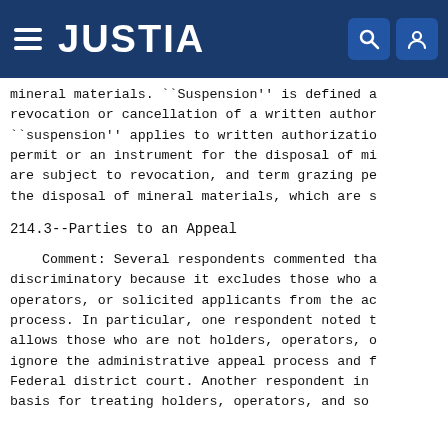JUSTIA
mineral materials. ``Suspension'' is defined a revocation or cancellation of a written author ``suspension'' applies to written authorizatio permit or an instrument for the disposal of mi are subject to revocation, and term grazing pe the disposal of mineral materials, which are s
214.3--Parties to an Appeal
Comment: Several respondents commented tha discriminatory because it excludes those who a operators, or solicited applicants from the ac process. In particular, one respondent noted t allows those who are not holders, operators, o ignore the administrative appeal process and f Federal district court. Another respondent in basis for treating holders, operators, and so